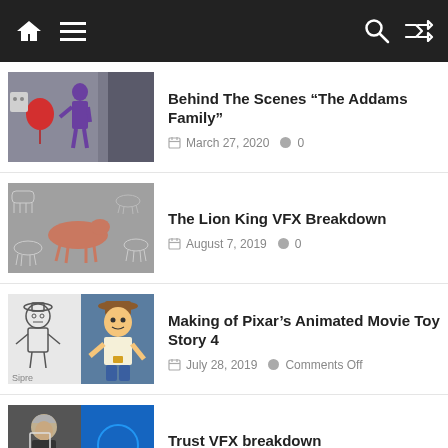Navigation bar with home, menu, search, shuffle icons
[Figure (screenshot): Behind The Scenes Addams Family thumbnail with red balloon and purple character]
Behind The Scenes “The Addams Family”
March 27, 2020  0
[Figure (screenshot): The Lion King VFX Breakdown thumbnail with animal wireframes]
The Lion King VFX Breakdown
August 7, 2019  0
[Figure (screenshot): Making of Pixar Animated Movie Toy Story 4 thumbnail with sketch and Woody]
Making of Pixar’s Animated Movie Toy Story 4
July 28, 2019  Comments Off
[Figure (screenshot): Trust VFX breakdown thumbnail with person and blue background]
Trust VFX breakdown
July 26, 2019  Comments Off